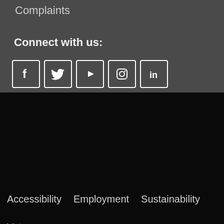Complaints
Connect with us:
[Figure (other): Social media icons: Facebook, Twitter, YouTube, Instagram, LinkedIn]
Accessibility
Employment
Sustainability
Veterans
WESTERN ILLINOIS UNIVERSITY - STUSERV
Sherman Hall / 1 University Circle
Macomb, IL 61455 USA
(309) 298-1414
© 2021 Western Illinois University. All Rights Reserved. | Web Privacy Policy